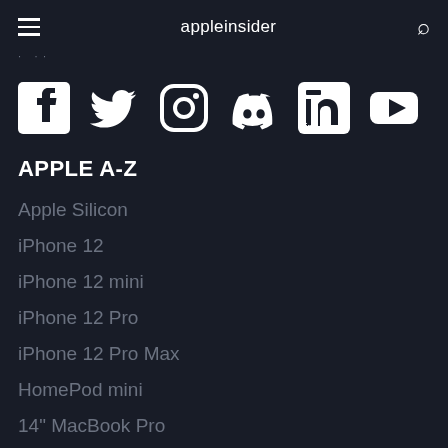appleinsider
· ···
[Figure (logo): Social media icons: Facebook, Twitter, Instagram, Discord, LinkedIn, YouTube]
APPLE A-Z
Apple Silicon
iPhone 12
iPhone 12 mini
iPhone 12 Pro
iPhone 12 Pro Max
HomePod mini
14" MacBook Pro
Apple Watch S…